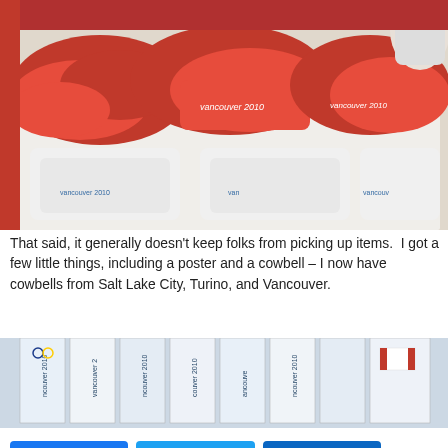[Figure (photo): Display table with Vancouver 2010 Olympics merchandise — red and white t-shirts and hats piled on a white retail table]
That said, it generally doesn't keep folks from picking up items.  I got a few little things, including a poster and a cowbell – I now have cowbells from Salt Lake City, Turino, and Vancouver.
[Figure (photo): Rack of Vancouver 2010 Olympic banners and merchandise hanging in a store, showing various countries' flags and Vancouver 2010 branding]
[Figure (infographic): Social share bar with Facebook, Twitter, LinkedIn buttons and Y 0 SHARES counter]